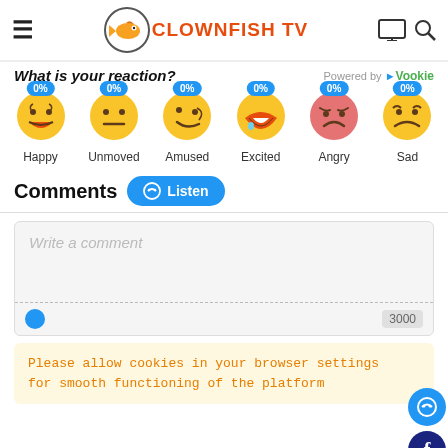CLOWNFISH TV
What is your reaction?  Powered by Vukie
[Figure (infographic): Six emoji reaction buttons each showing 0%: Happy, Unmoved, Amused, Excited, Angry, Sad]
Happy  Unmoved  Amused  Excited  Angry  Sad
Comments  Listen
Write a comment
3000
Please allow cookies in your browser settings for smooth functioning of the platform